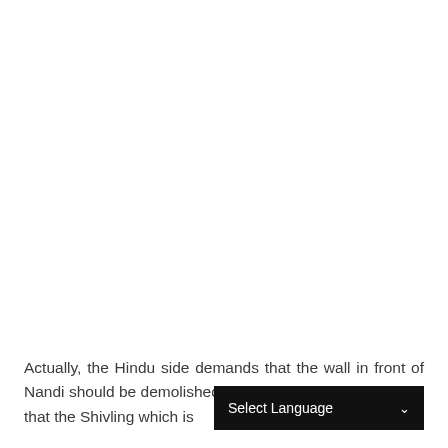Actually, the Hindu side demands that the wall in front of Nandi should be demolished, while the Muslim side argues that the Shivling which is [obscured by overlay]n.